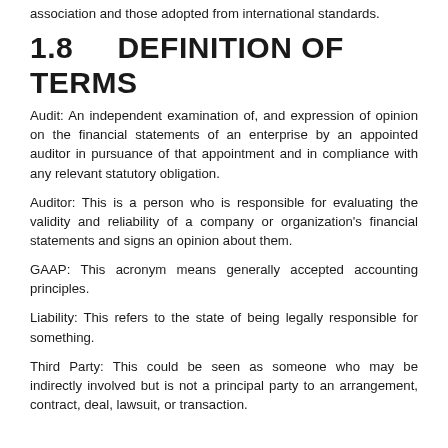association and those adopted from international standards.
1.8   DEFINITION OF TERMS
Audit: An independent examination of, and expression of opinion on the financial statements of an enterprise by an appointed auditor in pursuance of that appointment and in compliance with any relevant statutory obligation.
Auditor: This is a person who is responsible for evaluating the validity and reliability of a company or organization's financial statements and signs an opinion about them.
GAAP: This acronym means generally accepted accounting principles.
Liability: This refers to the state of being legally responsible for something.
Third Party: This could be seen as someone who may be indirectly involved but is not a principal party to an arrangement, contract, deal, lawsuit, or transaction.